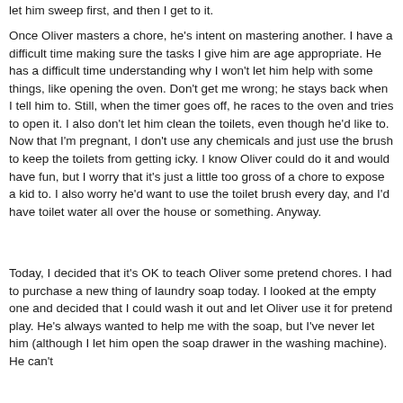let him sweep first, and then I get to it.
Once Oliver masters a chore, he's intent on mastering another. I have a difficult time making sure the tasks I give him are age appropriate. He has a difficult time understanding why I won't let him help with some things, like opening the oven. Don't get me wrong; he stays back when I tell him to. Still, when the timer goes off, he races to the oven and tries to open it. I also don't let him clean the toilets, even though he'd like to. Now that I'm pregnant, I don't use any chemicals and just use the brush to keep the toilets from getting icky. I know Oliver could do it and would have fun, but I worry that it's just a little too gross of a chore to expose a kid to. I also worry he'd want to use the toilet brush every day, and I'd have toilet water all over the house or something. Anyway.
Today, I decided that it's OK to teach Oliver some pretend chores. I had to purchase a new thing of laundry soap today. I looked at the empty one and decided that I could wash it out and let Oliver use it for pretend play. He's always wanted to help me with the soap, but I've never let him (although I let him open the soap drawer in the washing machine). He can't